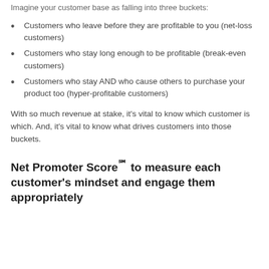Imagine your customer base as falling into three buckets:
Customers who leave before they are profitable to you (net-loss customers)
Customers who stay long enough to be profitable (break-even customers)
Customers who stay AND who cause others to purchase your product too (hyper-profitable customers)
With so much revenue at stake, it’s vital to know which customer is which. And, it’s vital to know what drives customers into those buckets.
Net Promoter Score℠ to measure each customer’s mindset and engage them appropriately